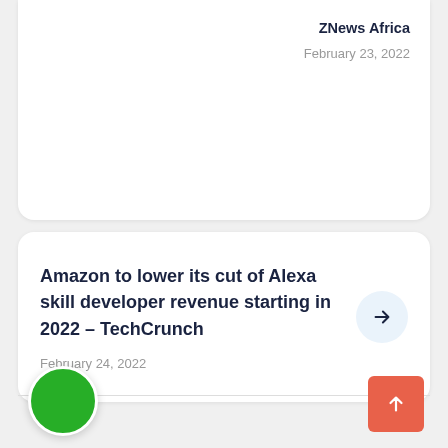ZNews Africa
February 23, 2022
Amazon to lower its cut of Alexa skill developer revenue starting in 2022 – TechCrunch
February 24, 2022